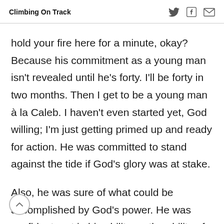Climbing On Track
hold your fire here for a minute, okay? Because his commitment as a young man isn't revealed until he's forty. I'll be forty in two months. Then I get to be a young man à la Caleb. I haven't even started yet, God willing; I'm just getting primed up and ready for action. He was committed to stand against the tide if God's glory was at stake.
Also, he was sure of what could be accomplished by God's power. He was confident, not in his ability n the ability of the Israelites, but he was confident in the power of God. He was confident